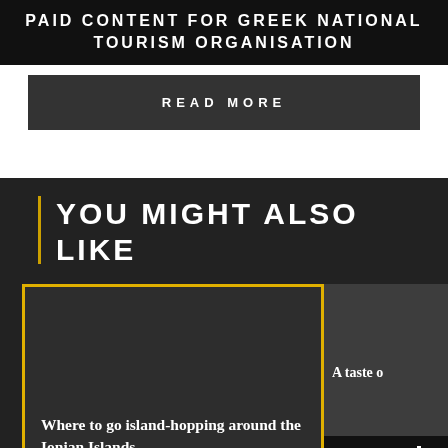PAID CONTENT FOR GREEK NATIONAL TOURISM ORGANISATION
READ MORE
YOU MIGHT ALSO LIKE
Where to go island-hopping around the Ionian Islands
A taste o
SHARE